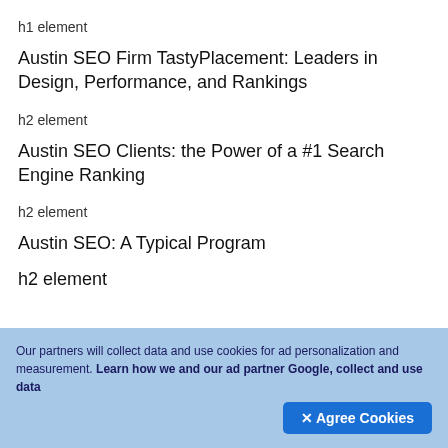h1 element
Austin SEO Firm TastyPlacement: Leaders in Design, Performance, and Rankings
h2 element
Austin SEO Clients: the Power of a #1 Search Engine Ranking
h2 element
Austin SEO: A Typical Program
h2 element
Our partners will collect data and use cookies for ad personalization and measurement. Learn how we and our ad partner Google, collect and use data
✕ Agree Cookies